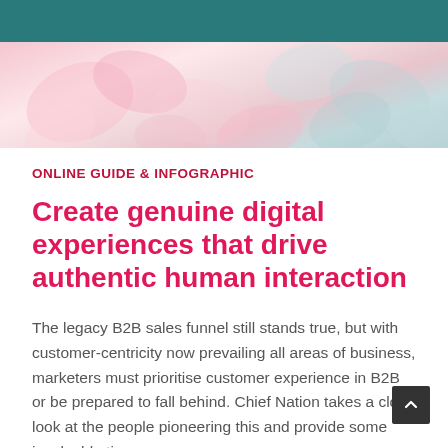[Figure (photo): Header area with teal/dark teal top bar and floral pink/rose background below]
ONLINE GUIDE & INFOGRAPHIC
Create genuine digital experiences that drive authentic human interaction
The legacy B2B sales funnel still stands true, but with customer-centricity now prevailing all areas of business, marketers must prioritise customer experience in B2B or be prepared to fall behind. Chief Nation takes a close look at the people pioneering this and provide some invaluable tips on